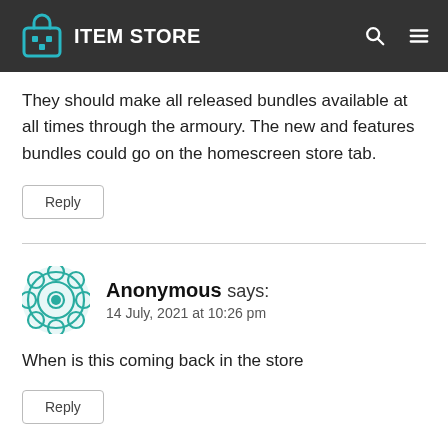ITEM STORE
They should make all released bundles available at all times through the armoury. The new and features bundles could go on the homescreen store tab.
Reply
Anonymous says:
14 July, 2021 at 10:26 pm
When is this coming back in the store
Reply